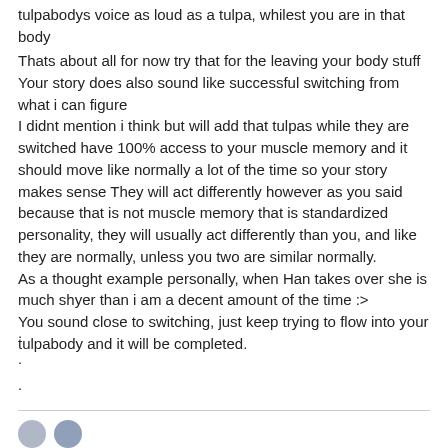tulpabodys voice as loud as a tulpa, whilest you are in that body
Thats about all for now try that for the leaving your body stuff Your story does also sound like successful switching from what i can figure
I didnt mention i think but will add that tulpas while they are switched have 100% access to your muscle memory and it should move like normally a lot of the time so your story makes sense They will act differently however as you said because that is not muscle memory that is standardized personality, they will usually act differently than you, and like they are normally, unless you two are similar normally.
As a thought example personally, when Han takes over she is much shyer than i am a decent amount of the time :>
You sound close to switching, just keep trying to flow into your tulpabody and it will be completed.
.
.
.